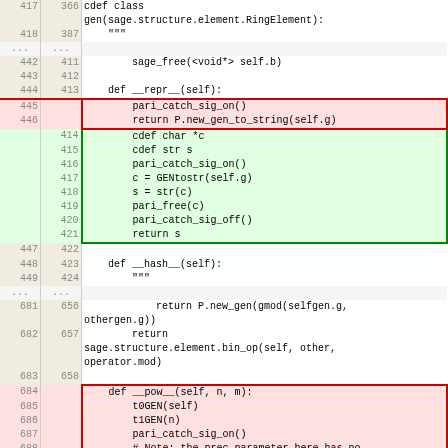| old | new | code |
| --- | --- | --- |
| 417 | 366 | cdef class
gen(sage.structure.element.RingElement): |
| 418 | 387 |     """ |
| ... | ... |  |
| 442 | 411 |         sage_free(<void*> self.b) |
| 443 | 412 |  |
| 444 | 413 |     def __repr__(self): |
| 445 |  |         pari_catch_sig_on() |
| 446 |  |         return P.new_gen_to_string(self.g) |
|  | 414 |         cdef char *c |
|  | 415 |         cdef str s |
|  | 416 |         pari_catch_sig_on() |
|  | 417 |         c = GENtostr(self.g) |
|  | 418 |         s = str(c) |
|  | 419 |         pari_free(c) |
|  | 420 |         pari_catch_sig_off() |
|  | 421 |         return s |
| 447 | 422 |  |
| 448 | 423 |     def __hash__(self): |
| 449 | 424 |     """ |
| ... | ... |  |
| 681 | 656 |             return P.new_gen(gmod(selfgen.g,
othergen.g)) |
| 682 | 657 |         return
sage.structure.element.bin_op(self, other,
operator.mod) |
| 683 | 658 |  |
| 684 |  |     def __pow__(self, n, m): |
| 685 |  |         t0GEN(self) |
| 686 |  |         t1GEN(n) |
| 687 |  |         pari_catch_sig_on() |
| 688 |  |         # Note: the prec parameter here has no
effect when t0,t1 are |